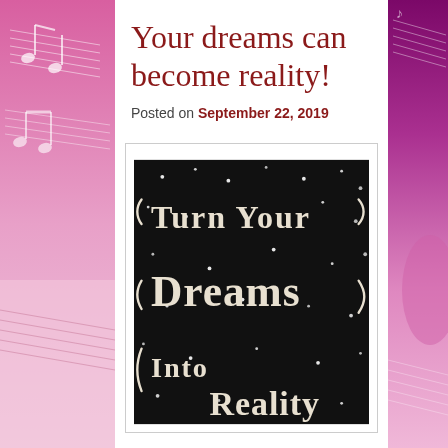[Figure (illustration): Left decorative strip with pink/magenta gradient and music notes/staff lines pattern]
[Figure (illustration): Right decorative strip with dark purple/magenta gradient and music staff lines pattern]
Your dreams can become reality!
Posted on September 22, 2019
[Figure (photo): Black chalkboard-style image with decorative hand-lettered text reading 'Turn Your Dreams Into Reality' surrounded by white dots/stars on dark background]